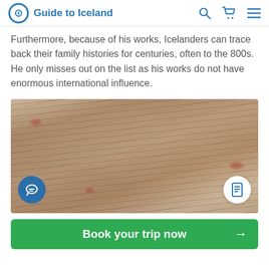Guide to Iceland
Furthermore, because of his works, Icelanders can trace back their family histories for centuries, often to the 800s. He only misses out on the list as his works do not have enormous international influence.
[Figure (photo): Close-up photograph of an ancient manuscript page with handwritten text in dark ink on aged parchment, appearing to be a medieval Icelandic manuscript.]
Book your trip now →